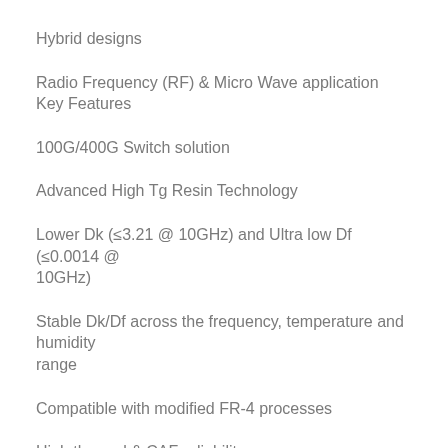Hybrid designs
Radio Frequency (RF) & Micro Wave application Key Features
100G/400G Switch solution
Advanced High Tg Resin Technology
Lower Dk (≤3.21 @ 10GHz) and Ultra low Df (≤0.0014 @ 10GHz)
Stable Dk/Df across the frequency, temperature and humidity range
Compatible with modified FR-4 processes
High thermal & CAF reliability